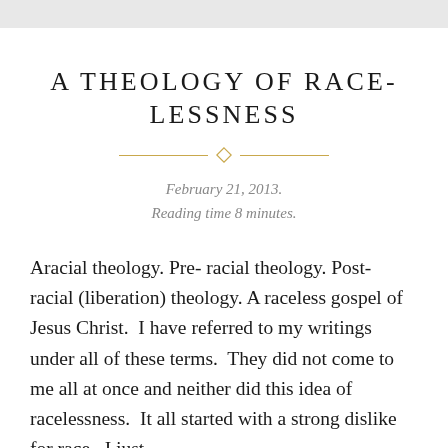A THEOLOGY OF RACE-LESSNESS
February 21, 2013.
Reading time 8 minutes.
Aracial theology. Pre- racial theology. Post- racial (liberation) theology. A raceless gospel of Jesus Christ. I have referred to my writings under all of these terms. They did not come to me all at once and neither did this idea of racelessness. It all started with a strong dislike for race. I just